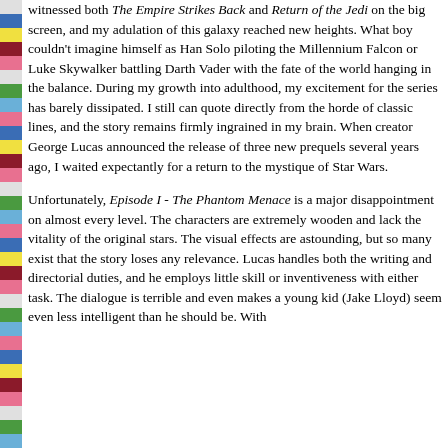witnessed both The Empire Strikes Back and Return of the Jedi on the big screen, and my adulation of this galaxy reached new heights. What boy couldn't imagine himself as Han Solo piloting the Millennium Falcon or Luke Skywalker battling Darth Vader with the fate of the world hanging in the balance. During my growth into adulthood, my excitement for the series has barely dissipated. I still can quote directly from the horde of classic lines, and the story remains firmly ingrained in my brain. When creator George Lucas announced the release of three new prequels several years ago, I waited expectantly for a return to the mystique of Star Wars.
Unfortunately, Episode I - The Phantom Menace is a major disappointment on almost every level. The characters are extremely wooden and lack the vitality of the original stars. The visual effects are astounding, but so many exist that the story loses any relevance. Lucas handles both the writing and directorial duties, and he employs little skill or inventiveness with either task. The dialogue is terrible and even makes a young kid (Jake Lloyd) seem even less intelligent than he should be. With